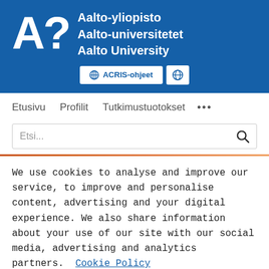[Figure (logo): Aalto University logo: large white 'A?' symbol on blue background with text 'Aalto-yliopisto / Aalto-universitetet / Aalto University' in white]
ACRIS-ohjeet | globe icon
Etusivu   Profilit   Tutkimustuotokset   ...
Etsi...
We use cookies to analyse and improve our service, to improve and personalise content, advertising and your digital experience. We also share information about your use of our site with our social media, advertising and analytics partners.  Cookie Policy